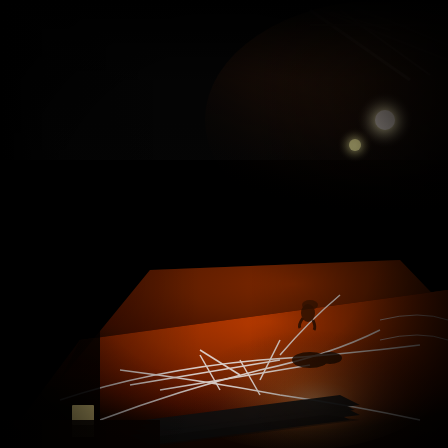[Figure (photo): A dimly lit theatre or performance space interior. The scene is dominated by darkness. Stage lighting rigs are visible at the top, with bright stage lights shining down. The floor is a reddish-brown wooden stage floor illuminated by warm red/orange light. White lines or ropes are laid out on the floor in geometric patterns. Dark metal poles or bars are piled on the floor. A small figure of a person can be seen crouching in the mid-distance. To the left, a bright rectangular light or window glows. The overall atmosphere is dramatic and moody with high contrast between light and shadow.]